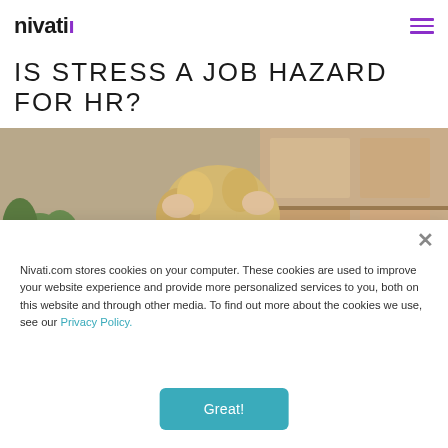nivati
IS STRESS A JOB HAZARD FOR HR?
[Figure (photo): Woman with curly blonde hair holding her head with both hands in a stressed pose, seated at a desk with plants and shelving in background]
Nivati.com stores cookies on your computer. These cookies are used to improve your website experience and provide more personalized services to you, both on this website and through other media. To find out more about the cookies we use, see our Privacy Policy.